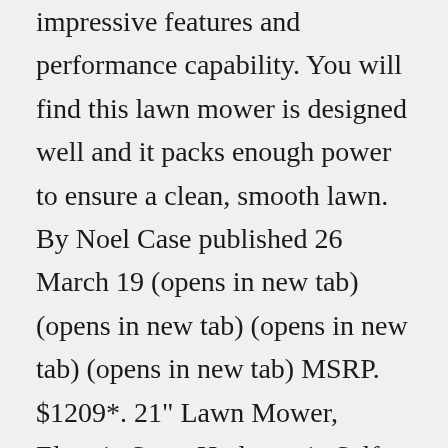impressive features and performance capability. You will find this lawn mower is designed well and it packs enough power to ensure a clean, smooth lawn. By Noel Case published 26 March 19 (opens in new tab) (opens in new tab) (opens in new tab) (opens in new tab) MSRP. $1209*. 21" Lawn Mower, Electric Start, Hydrostatic Self Propel, Blade Stop System. Electric start. Self-propelled, hydrostatic Cruise Control. Roto-Stop ® blade stop system